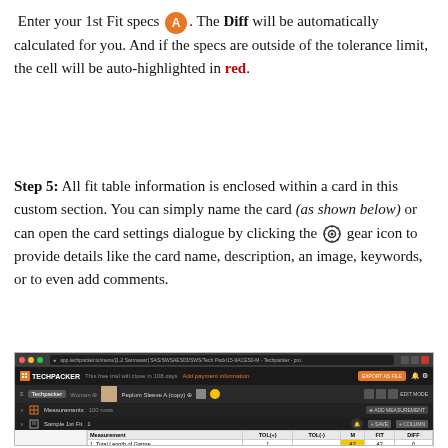Enter your 1st Fit specs [A]. The Diff will be automatically calculated for you. And if the specs are outside of the tolerance limit, the cell will be auto-highlighted in red.
Step 5: All fit table information is enclosed within a card in this custom section. You can simply name the card (as shown below) or can open the card settings dialogue by clicking the [gear] gear icon to provide details like the card name, description, an image, keywords, or to even add comments.
[Figure (screenshot): Screenshot of Techpacker application showing a fit table with measurements for Peplum Sleeve A (copy), including Sample 1st Fit data with columns for Measurement, TOL(+), TOL(-), M, FIT, DIFF.]